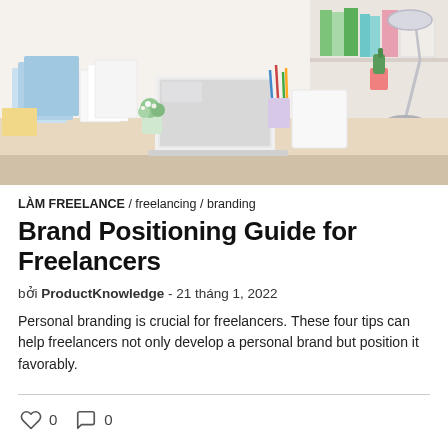[Figure (photo): A bright, organized desk workspace with colorful binders, an open laptop, a small cactus in a pink pot, office supplies in colorful holders, a desk lamp, and decorative items on shelves in the background.]
LÀM FREELANCE / freelancing / branding
Brand Positioning Guide for Freelancers
bởi ProductKnowledge - 21 tháng 1, 2022
Personal branding is crucial for freelancers. These four tips can help freelancers not only develop a personal brand but position it favorably.
0   0